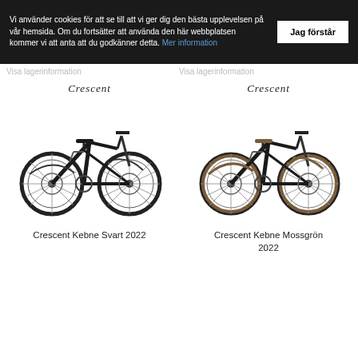Vi använder cookies för att se till att vi ger dig den bästa upplevelsen på vår hemsida. Om du fortsätter att använda den här webbplatsen kommer vi att anta att du godkänner detta. Mer information
Visa lagerinformation
Visa lagerinformation
[Figure (photo): Crescent logo text in italic script above a black city/trekking bicycle (Crescent Kebne Svart 2022) with disc brakes, rear rack, and fenders]
[Figure (photo): Crescent logo text in italic script above a black city/trekking bicycle with brown tires and saddle (Crescent Kebne Mossgrön 2022) with disc brakes, rear rack, and fenders]
Crescent Kebne Svart 2022
Crescent Kebne Mossgrön 2022